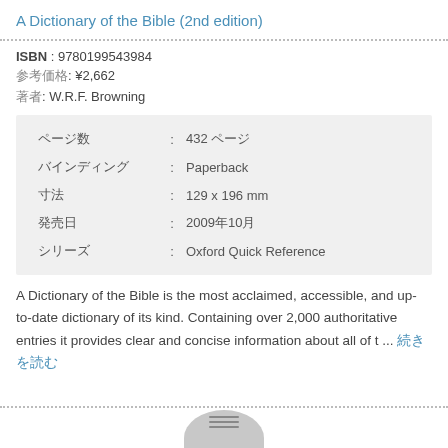A Dictionary of the Bible (2nd edition)
ISBN : 9780199543984
参考価格: ¥2,662
著者: W.R.F. Browning
| ページ数 | : | 432 ページ |
| バインディング | : | Paperback |
| 寸法 | : | 129 x 196 mm |
| 発売日 | : | 2009年10月 |
| シリーズ | : | Oxford Quick Reference |
A Dictionary of the Bible is the most acclaimed, accessible, and up-to-date dictionary of its kind. Containing over 2,000 authoritative entries it provides clear and concise information about all of t ... 続きを読む